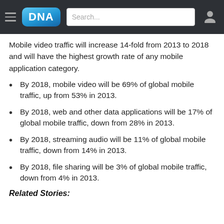DNA — navigation bar with hamburger menu, DNA logo, search box, user icon
Mobile video traffic will increase 14-fold from 2013 to 2018 and will have the highest growth rate of any mobile application category.
By 2018, mobile video will be 69% of global mobile traffic, up from 53% in 2013.
By 2018, web and other data applications will be 17% of global mobile traffic, down from 28% in 2013.
By 2018, streaming audio will be 11% of global mobile traffic, down from 14% in 2013.
By 2018, file sharing will be 3% of global mobile traffic, down from 4% in 2013.
Related Stories: